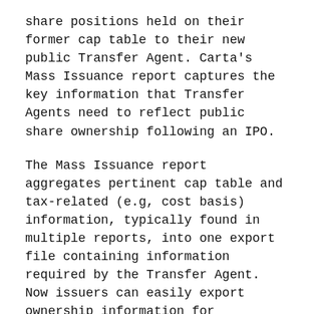share positions held on their former cap table to their new public Transfer Agent. Carta's Mass Issuance report captures the key information that Transfer Agents need to reflect public share ownership following an IPO.
The Mass Issuance report aggregates pertinent cap table and tax-related (e.g, cost basis) information, typically found in multiple reports, into one export file containing information required by the Transfer Agent. Now issuers can easily export ownership information for communication to their Transfer Agent in one step.
The Mass Issuance report includes additional information on the company's stock program shares to make it easier for the company to move the eligible portion of their stock ledger back to an